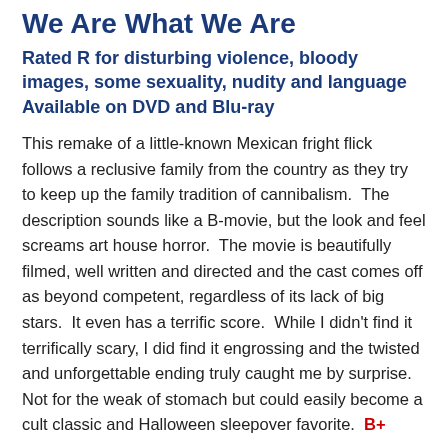We Are What We Are
Rated R for disturbing violence, bloody images, some sexuality, nudity and language
Available on DVD and Blu-ray
This remake of a little-known Mexican fright flick follows a reclusive family from the country as they try to keep up the family tradition of cannibalism. The description sounds like a B-movie, but the look and feel screams art house horror. The movie is beautifully filmed, well written and directed and the cast comes off as beyond competent, regardless of its lack of big stars. It even has a terrific score. While I didn't find it terrifically scary, I did find it engrossing and the twisted and unforgettable ending truly caught me by surprise. Not for the weak of stomach but could easily become a cult classic and Halloween sleepover favorite. B+
Throne of Blood: Criterion